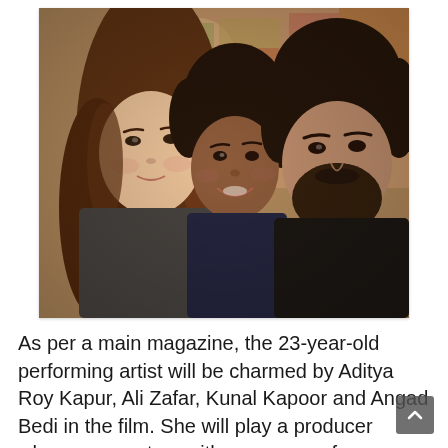[Figure (photo): A selfie-style photo of three people posing together indoors. On the left is a young woman with long wavy brown hair smiling gently. In the center is a woman with shorter dark hair smiling broadly. On the right is a man with dark hair and a beard wearing dark clothing. The background shows colorful artwork or paintings.]
As per a main magazine, the 23-year-old performing artist will be charmed by Aditya Roy Kapur, Ali Zafar, Kunal Kapoor and Angad Bedi in the film. She will play a producer whose encounters with every one of the men change her life and psyche. SRK will be…